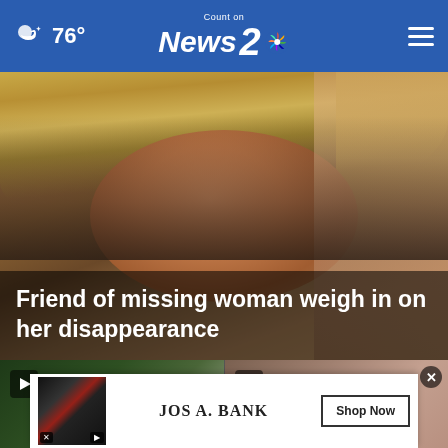76° Count on News 2 NBC
[Figure (photo): Close-up photo of a woman with blonde hair, smiling slightly, with a blurred background. Headline overlay reads: Friend of missing woman weigh in on her disappearance]
Friend of missing woman weigh in on her disappearance
[Figure (screenshot): Two video thumbnails side by side with play buttons. An advertisement banner for JoS. A. Bank with a Shop Now button overlaid at the bottom.]